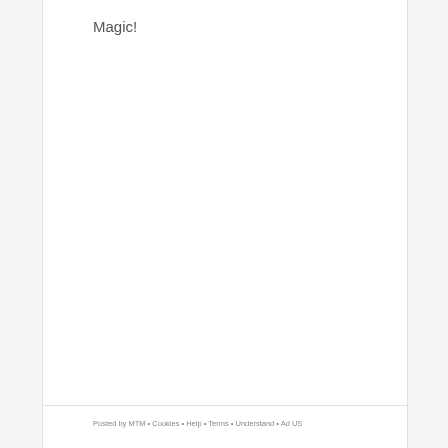Magic!
Posted by MTM • Cookies • Help • Terms • Understand • Ad US